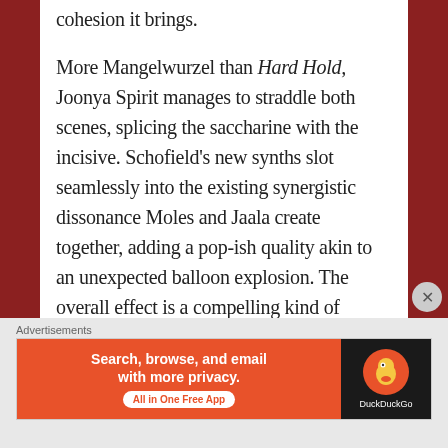cohesion it brings.
More Mangelwurzel than Hard Hold, Joonya Spirit manages to straddle both scenes, splicing the saccharine with the incisive. Schofield’s new synths slot seamlessly into the existing synergistic dissonance Moles and Jaala create together, adding a pop-ish quality akin to an unexpected balloon explosion. The overall effect is a compelling kind of propulsion, jagged and smoothly erratic.
Innocently itself, cool without care, Joonya Spirit is a confident release that deftly sidesteps the second album slouch.
Advertisements
[Figure (other): Green advertisement banner bar]
Advertisements
[Figure (other): DuckDuckGo advertisement banner: Search, browse, and email with more privacy. All in One Free App]